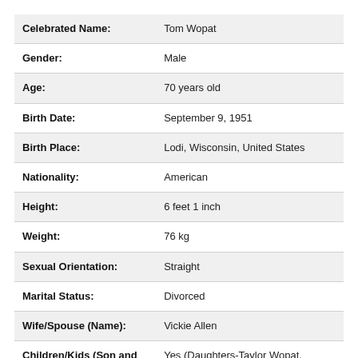| Field | Value |
| --- | --- |
| Celebrated Name: | Tom Wopat |
| Gender: | Male |
| Age: | 70 years old |
| Birth Date: | September 9, 1951 |
| Birth Place: | Lodi, Wisconsin, United States |
| Nationality: | American |
| Height: | 6 feet 1 inch |
| Weight: | 76 kg |
| Sexual Orientation: | Straight |
| Marital Status: | Divorced |
| Wife/Spouse (Name): | Vickie Allen |
| Children/Kids (Son and Daughter): | Yes (Daughters-Taylor Wopat, Lindsey Gary  Sons- Joey |